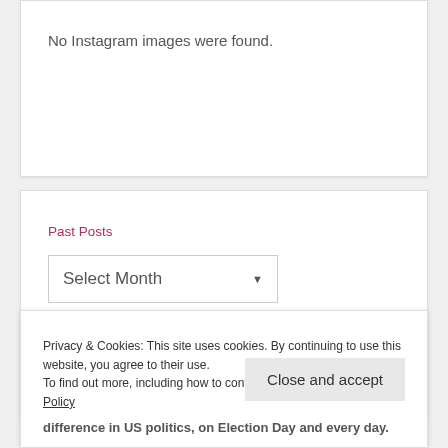No Instagram images were found.
Past Posts
[Figure (screenshot): A dropdown select box labeled 'Select Month' with a downward arrow icon]
About Us
Privacy & Cookies: This site uses cookies. By continuing to use this website, you agree to their use.
To find out more, including how to control cookies, see here: Cookie Policy
Close and accept
difference in US politics, on Election Day and every day.